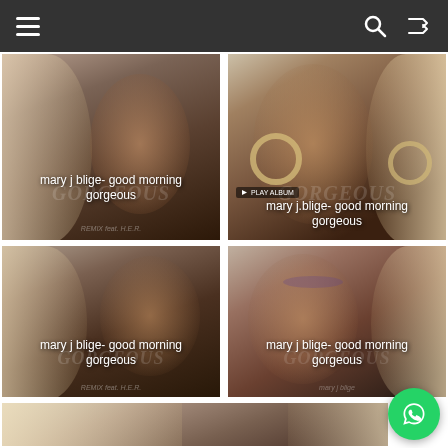Navigation bar with hamburger menu, search icon, shuffle icon
[Figure (screenshot): Mary J Blige Good Morning Gorgeous album art thumbnail top-left, close-up face with blonde hair]
[Figure (screenshot): Mary J Blige Good Morning Gorgeous album art thumbnail top-right, showing full face with large hoop earrings and Play Album button]
[Figure (screenshot): Mary J Blige Good Morning Gorgeous album art thumbnail middle-left, close-up face]
[Figure (screenshot): Mary J Blige Good Morning Gorgeous album art thumbnail middle-right, close-up face with purple eye shadow]
[Figure (screenshot): Mary J Blige Good Morning Gorgeous album art partial thumbnail bottom, showing blonde hair, with WhatsApp icon overlay]